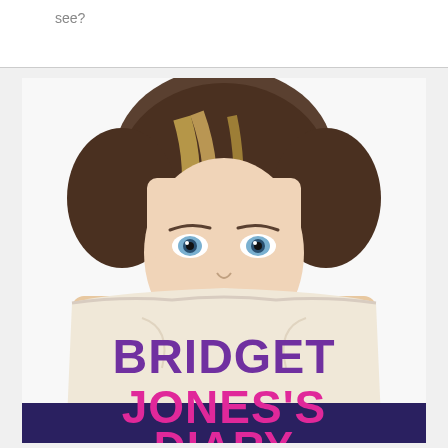see?
[Figure (photo): Movie poster for Bridget Jones's [Diary/Baby], showing a woman with blonde-brown hair holding up a large white undergarment or fabric panel with 'BRIDGET JONES'S' printed in purple and pink bold lettering. Only her eyes and hair are visible above the fabric.]